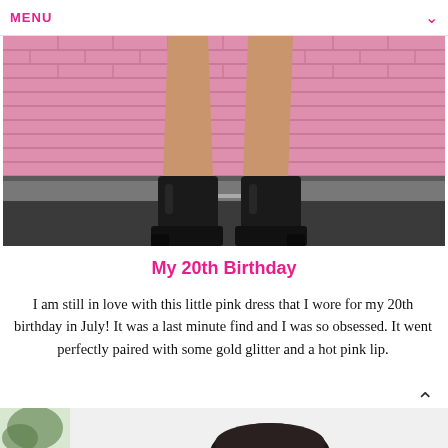MENU
[Figure (photo): Lower half of a person wearing a short pink dress and black ankle boots, standing in front of a pink painted brick wall on a dark pavement.]
My 20th Birthday
I am still in love with this little pink dress that I wore for my 20th birthday in July! It was a last minute find and I was so obsessed. It went perfectly paired with some gold glitter and a hot pink lip.
[Figure (photo): Bottom portion of a second fashion photo, partially visible.]